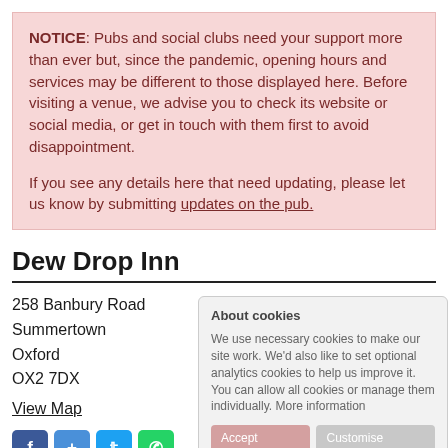NOTICE: Pubs and social clubs need your support more than ever but, since the pandemic, opening hours and services may be different to those displayed here. Before visiting a venue, we advise you to check its website or social media, or get in touch with them first to avoid disappointment.

If you see any details here that need updating, please let us know by submitting updates on the pub.
Dew Drop Inn
258 Banbury Road
Summertown
Oxford
OX2 7DX
View Map
[Figure (other): Social sharing icons: Facebook, Share, Twitter, WhatsApp]
(01865) 559372